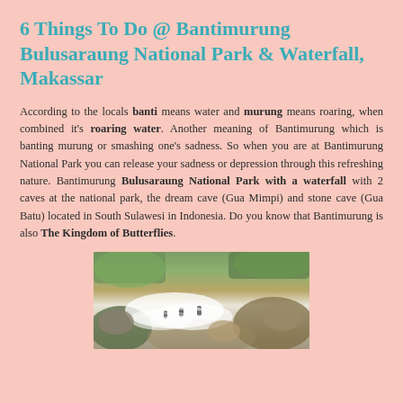6 Things To Do @ Bantimurung Bulusaraung National Park & Waterfall, Makassar
According to the locals banti means water and murung means roaring, when combined it's roaring water. Another meaning of Bantimurung which is banting murung or smashing one's sadness. So when you are at Bantimurung National Park you can release your sadness or depression through this refreshing nature. Bantimurung Bulusaraung National Park with a waterfall with 2 caves at the national park, the dream cave (Gua Mimpi) and stone cave (Gua Batu) located in South Sulawesi in Indonesia. Do you know that Bantimurung is also The Kingdom of Butterflies.
[Figure (photo): A photo of Bantimurung waterfall area showing white rushing water over rocks with people wading, surrounded by rocky terrain and green vegetation]